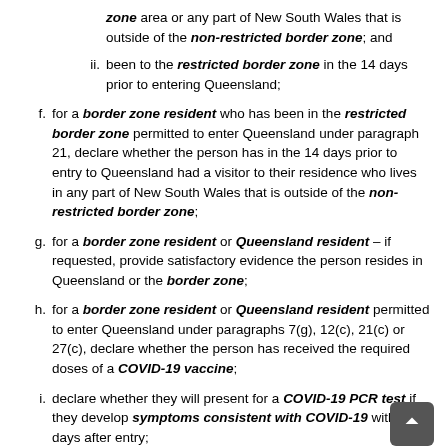zone area or any part of New South Wales that is outside of the non-restricted border zone; and
ii. been to the restricted border zone in the 14 days prior to entering Queensland;
f. for a border zone resident who has been in the restricted border zone permitted to enter Queensland under paragraph 21, declare whether the person has in the 14 days prior to entry to Queensland had a visitor to their residence who lives in any part of New South Wales that is outside of the non-restricted border zone;
g. for a border zone resident or Queensland resident – if requested, provide satisfactory evidence the person resides in Queensland or the border zone;
h. for a border zone resident or Queensland resident permitted to enter Queensland under paragraphs 7(g), 12(c), 21(c) or 27(c), declare whether the person has received the required doses of a COVID-19 vaccine;
i. declare whether they will present for a COVID-19 PCR test if they develop symptoms consistent with COVID-19 within 14 days after entry;